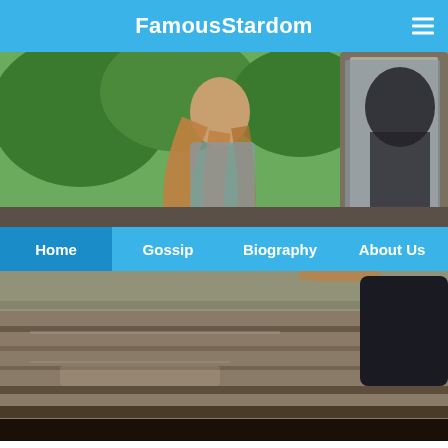FamousStardom
[Figure (photo): Top half of a photo showing a woman with long hair sitting near a car window with trees in the background]
Home   Gossip   Biography   About Us
[Figure (photo): Bottom half of the same photo showing the lower portion of a car window/door from the outside]